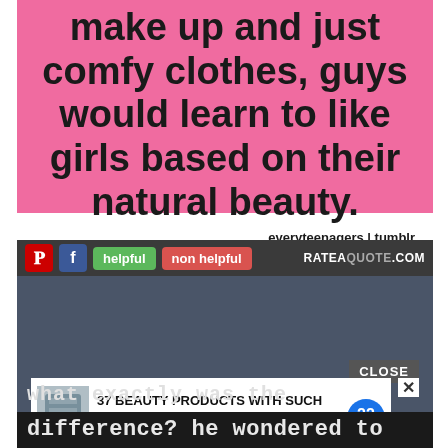[Figure (screenshot): Pink background graphic with bold black text reading 'make up and just comfy clothes, guys would learn to like girls based on their natural beauty.' with attribution 'everyteenagers | tumblr']
[Figure (screenshot): Dark screenshot of a website (rateaquote.com) with toolbar showing Pinterest, Facebook, 'helpful' and 'non helpful' buttons, an advertisement for '37 BEAUTY PRODUCTS WITH SUCH GOOD REVIEWS YOU MIGHT WANT TO TRY THEM YOURSELF', a CLOSE button, and partially visible text at the bottom reading 'what exactly was the difference? he wondered to']